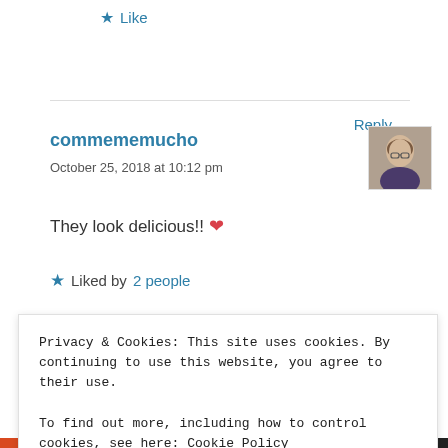★ Like
Reply
commememucho
October 25, 2018 at 10:12 pm
[Figure (photo): Avatar photo of commememucho user]
They look delicious!! ❤
★ Liked by 2 people
Privacy & Cookies: This site uses cookies. By continuing to use this website, you agree to their use.
To find out more, including how to control cookies, see here: Cookie Policy
Close and accept